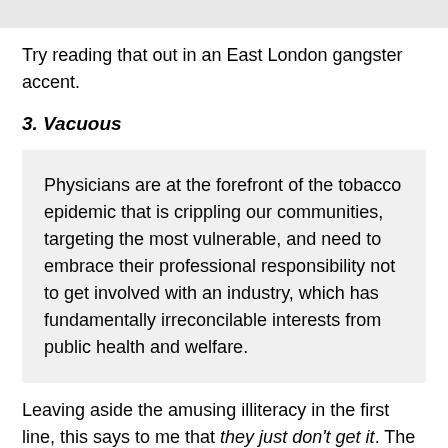Try reading that out in an East London gangster accent.
3. Vacuous
Physicians are at the forefront of the tobacco epidemic that is crippling our communities, targeting the most vulnerable, and need to embrace their professional responsibility not to get involved with an industry, which has fundamentally irreconcilable interests from public health and welfare.
Leaving aside the amusing illiteracy in the first line, this says to me that they just don't get it. The fundamental interest of any tobacco or nicotine